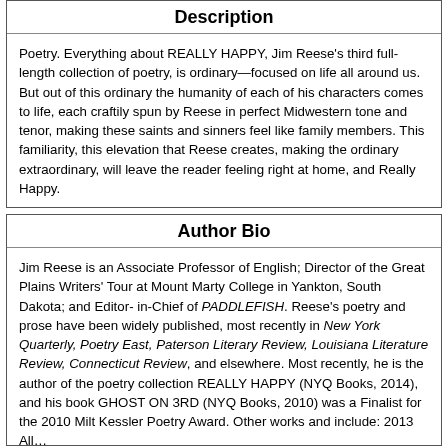Description
Poetry. Everything about REALLY HAPPY, Jim Reese's third full-length collection of poetry, is ordinary—focused on life all around us. But out of this ordinary the humanity of each of his characters comes to life, each craftily spun by Reese in perfect Midwestern tone and tenor, making these saints and sinners feel like family members. This familiarity, this elevation that Reese creates, making the ordinary extraordinary, will leave the reader feeling right at home, and Really Happy.
Author Bio
Jim Reese is an Associate Professor of English; Director of the Great Plains Writers' Tour at Mount Marty College in Yankton, South Dakota; and Editor- in-Chief of PADDLEFISH. Reese's poetry and prose have been widely published, most recently in New York Quarterly, Poetry East, Paterson Literary Review, Louisiana Literature Review, Connecticut Review, and elsewhere. Most recently, he is the author of the poetry collection REALLY HAPPY (NYQ Books, 2014), and his book GHOST ON 3RD (NYQ Books, 2010) was a Finalist for the 2010 Milt Kessler Poetry Award. Other works and...